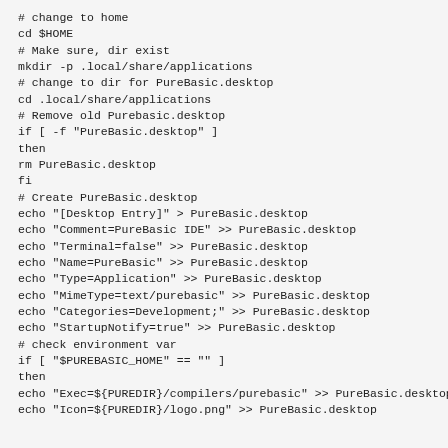# change to home
cd $HOME
# Make sure, dir exist
mkdir -p .local/share/applications
# change to dir for PureBasic.desktop
cd .local/share/applications
# Remove old Purebasic.desktop
if [ -f "PureBasic.desktop" ]
then
rm PureBasic.desktop
fi
# Create PureBasic.desktop
echo "[Desktop Entry]" > PureBasic.desktop
echo "Comment=PureBasic IDE" >> PureBasic.desktop
echo "Terminal=false" >> PureBasic.desktop
echo "Name=PureBasic" >> PureBasic.desktop
echo "Type=Application" >> PureBasic.desktop
echo "MimeType=text/purebasic" >> PureBasic.desktop
echo "Categories=Development;" >> PureBasic.desktop
echo "StartupNotify=true" >> PureBasic.desktop
# check environment var
if [ "$PUREBASIC_HOME" == "" ]
then
echo "Exec=${PUREDIR}/compilers/purebasic" >> PureBasic.desktop
echo "Icon=${PUREDIR}/logo.png" >> PureBasic.desktop